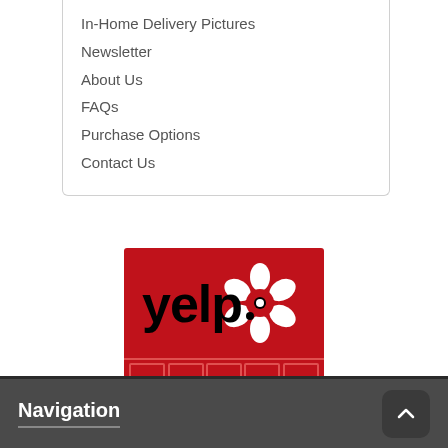In-Home Delivery Pictures
Newsletter
About Us
FAQs
Purchase Options
Contact Us
[Figure (logo): Yelp logo on red background with 5 red stars below]
Navigation